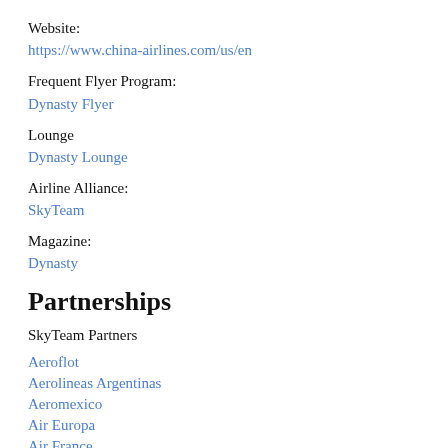Website:
https://www.china-airlines.com/us/en
Frequent Flyer Program:
Dynasty Flyer
Lounge
Dynasty Lounge
Airline Alliance:
SkyTeam
Magazine:
Dynasty
Partnerships
SkyTeam Partners
Aeroflot
Aerolineas Argentinas
Aeromexico
Air Europa
Air France